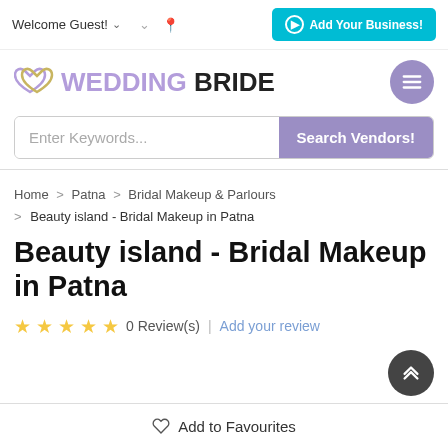Welcome Guest! ∨  ∨  Add Your Business!
WEDDING BRIDE
Enter Keywords... Search Vendors!
Home > Patna > Bridal Makeup & Parlours > Beauty island - Bridal Makeup in Patna
Beauty island - Bridal Makeup in Patna
☆ ☆ ☆ ☆ ☆ 0 Review(s) | Add your review
♡ Add to Favourites